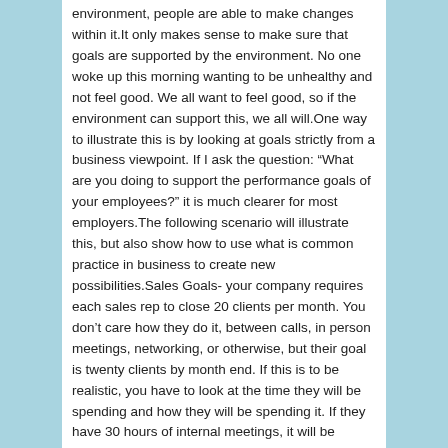environment, people are able to make changes within it.It only makes sense to make sure that goals are supported by the environment. No one woke up this morning wanting to be unhealthy and not feel good. We all want to feel good, so if the environment can support this, we all will.One way to illustrate this is by looking at goals strictly from a business viewpoint. If I ask the question: “What are you doing to support the performance goals of your employees?” it is much clearer for most employers.The following scenario will illustrate this, but also show how to use what is common practice in business to create new possibilities.Sales Goals- your company requires each sales rep to close 20 clients per month. You don’t care how they do it, between calls, in person meetings, networking, or otherwise, but their goal is twenty clients by month end. If this is to be realistic, you have to look at the time they will be spending and how they will be spending it. If they have 30 hours of internal meetings, it will be difficult for them to devote much time to external communications that will lead to sales. Therefore, this would not be an environment that supported 20 clients for the sales rep. As an owner/manager, you would not get